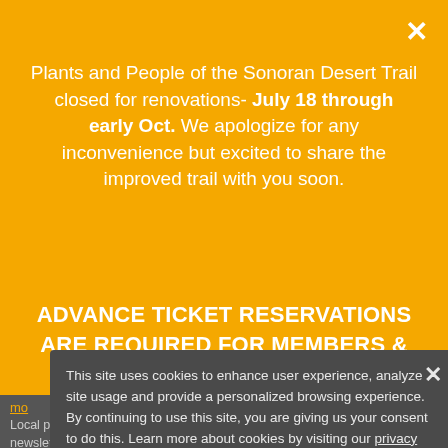Plants and People of the Sonoran Desert Trail closed for renovations- July 18 through early Oct. We apologize for any inconvenience but excited to share the improved trail with you soon.
ADVANCE TICKET RESERVATIONS ARE REQUIRED FOR MEMBERS & GENERAL ADMISSION.
This site uses cookies to enhance user experience, analyze site usage and provide a personalized browsing experience. By continuing to use this site, you are giving us your consent to do this. Learn more about cookies by visiting our privacy policy page.
Sign up for our e-newsletter, The Phoenix Field Guide
Let's be social on Instagram, Facebook, and